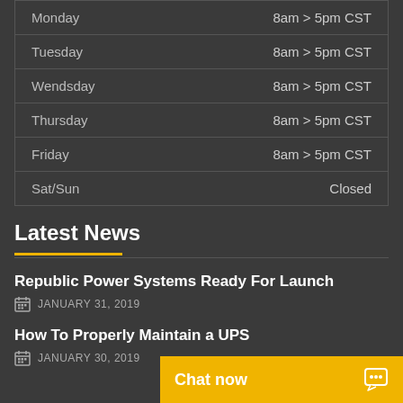| Day | Hours |
| --- | --- |
| Monday | 8am > 5pm CST |
| Tuesday | 8am > 5pm CST |
| Wendsday | 8am > 5pm CST |
| Thursday | 8am > 5pm CST |
| Friday | 8am > 5pm CST |
| Sat/Sun | Closed |
Latest News
Republic Power Systems Ready For Launch
JANUARY 31, 2019
How To Properly Maintain a UPS
JANUARY 30, 2019
Chat now